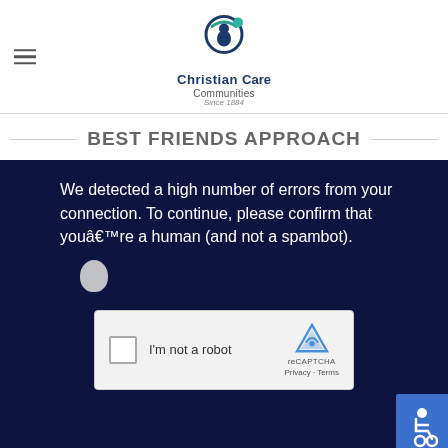[Figure (logo): Christian Care Communities logo with circular icon and text]
BEST FRIENDS APPROACH
[Figure (screenshot): Dark navy background overlay with reCAPTCHA challenge. Text reads: We detected a high number of errors from your connection. To continue, please confirm that youâ€™re a human (and not a spambot). Contains a reCAPTCHA checkbox widget saying I'm not a robot, and an accessibility icon.]